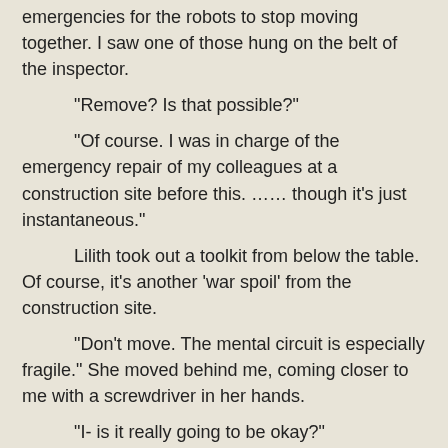emergencies for the robots to stop moving together. I saw one of those hung on the belt of the inspector.
"Remove? Is that possible?"
"Of course. I was in charge of the emergency repair of my colleagues at a construction site before this. …… though it's just instantaneous."
Lilith took out a toolkit from below the table. Of course, it's another 'war spoil' from the construction site.
"Don't move. The mental circuit is especially fragile." She moved behind me, coming closer to me with a screwdriver in her hands.
"I- is it really going to be okay?"
"It'll be alright! …… Probably."
A creaking noise came from the top of my head. Lilith